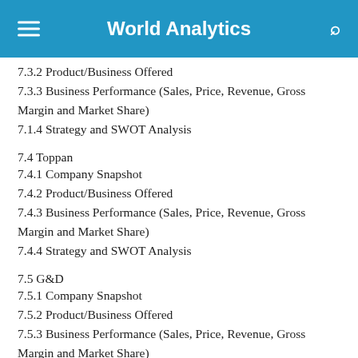World Analytics
7.3.2 Product/Business Offered
7.3.3 Business Performance (Sales, Price, Revenue, Gross Margin and Market Share)
7.1.4 Strategy and SWOT Analysis
7.4 Toppan
7.4.1 Company Snapshot
7.4.2 Product/Business Offered
7.4.3 Business Performance (Sales, Price, Revenue, Gross Margin and Market Share)
7.4.4 Strategy and SWOT Analysis
7.5 G&D
7.5.1 Company Snapshot
7.5.2 Product/Business Offered
7.5.3 Business Performance (Sales, Price, Revenue, Gross Margin and Market Share)
7.5.4 Strategy and SWOT Analysis